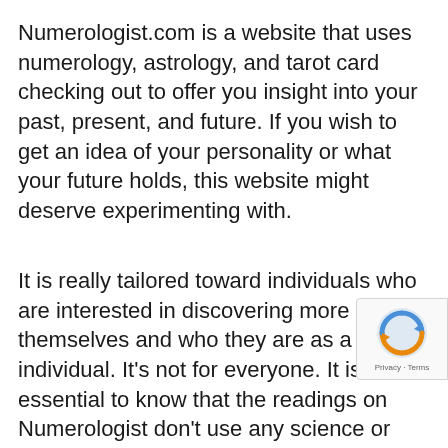Numerologist.com is a website that uses numerology, astrology, and tarot card checking out to offer you insight into your past, present, and future. If you wish to get an idea of your personality or what your future holds, this website might deserve experimenting with.
It is really tailored toward individuals who are interested in discovering more about themselves and who they are as a individual. It's not for everyone. It is essential to know that the readings on Numerologist don't use any science or psychology; they're based totally on the meanings of numbers and how they connect to each other in various mi…
A great deal of people like Numerologist since it…
[Figure (logo): Google reCAPTCHA badge with circular arrow logo and Privacy · Terms text]